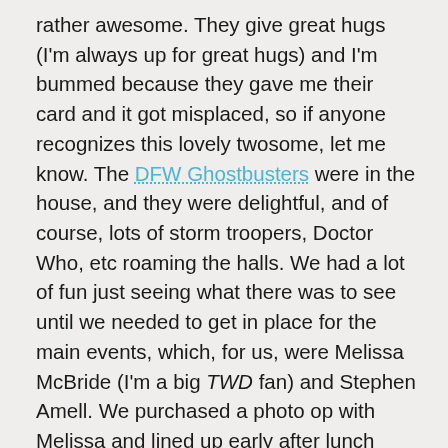rather awesome. They give great hugs (I'm always up for great hugs) and I'm bummed because they gave me their card and it got misplaced, so if anyone recognizes this lovely twosome, let me know. The DFW Ghostbusters were in the house, and they were delightful, and of course, lots of storm troopers, Doctor Who, etc roaming the halls. We had a lot of fun just seeing what there was to see until we needed to get in place for the main events, which, for us, were Melissa McBride (I'm a big TWD fan) and Stephen Amell. We purchased a photo op with Melissa and lined up early after lunch (food trucks, took forever, got wind whipped while eating outside.) So, we stood in a crush of people for a while to see Melissa, took the photo (which took about 5 seconds), and were on our way. As little time we got to actually see her, it was still very, very cool. She also looked gorjus (see below.)